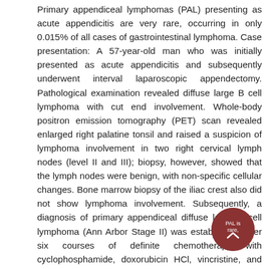Primary appendiceal lymphomas (PAL) presenting as acute appendicitis are very rare, occurring in only 0.015% of all cases of gastrointestinal lymphoma. Case presentation: A 57-year-old man who was initially presented as acute appendicitis and subsequently underwent interval laparoscopic appendectomy. Pathological examination revealed diffuse large B cell lymphoma with cut end involvement. Whole-body positron emission tomography (PET) scan revealed enlarged right palatine tonsil and raised a suspicion of lymphoma involvement in two right cervical lymph nodes (level II and III); biopsy, however, showed that the lymph nodes were benign, with non-specific cellular changes. Bone marrow biopsy of the iliac crest also did not show lymphoma involvement. Subsequently, a diagnosis of primary appendiceal diffuse large B cell lymphoma (Ann Arbor Stage II) was established. After six courses of definite chemotherapy with cyclophosphamide, doxorubicin HCl, vincristine, and rituximab (R-CHOP), PET/CT showed complete remission of the prior FDG-avid malignancy of appendiceal DLBCL. The patient continued to be stable with no recurrence for fifteen months of regular outpatient department follow-ups. Conclusions: PAL is rare, and it clinically manifests the signs and symptoms of acute appendicitis. Specific characteristics of lymphoma in CT scans may lead to a more confirmative diagnosis. PET/CT is important
[Figure (other): A circular dark red scroll-to-top button with a chevron/arrow icon and the text 'PAL is rare, and it clinically manifests the signs and symptoms of acute' overlaid]